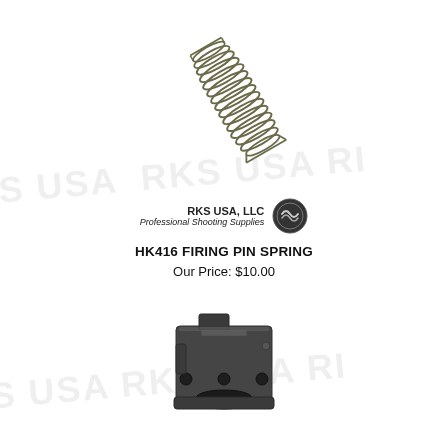[Figure (photo): A coiled metal firing pin spring, diagonal orientation, dark olive/grey color, on white background with faint watermark text 'RKS USA RKS USA RI']
[Figure (logo): RKS USA, LLC logo with badge/seal icon and text 'RKS USA, LLC Professional Shooting Supplies']
HK416 FIRING PIN SPRING
Our Price: $10.00
[Figure (photo): A dark grey/black metal gas block component for HK416, square-ish with cylindrical bore, attachment holes, on white background with faint watermark text 'S USA RKS USA RI']